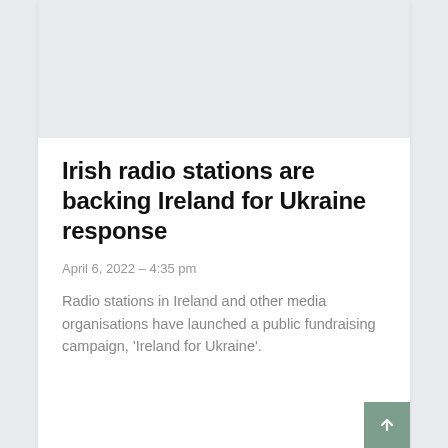[Figure (other): Gray placeholder image area at the top of the article card]
Irish radio stations are backing Ireland for Ukraine response
April 6, 2022 – 4:35 pm
Radio stations in Ireland and other media organisations have launched a public fundraising campaign, 'Ireland for Ukraine'.